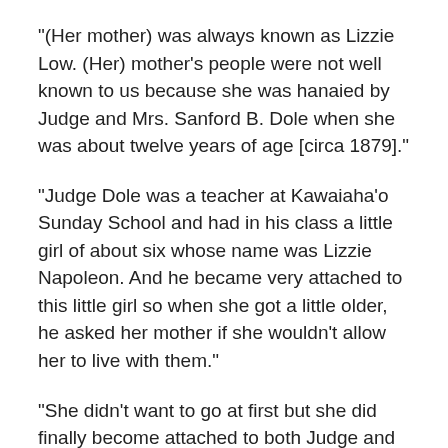“(Her mother) was always known as Lizzie Low. (Her) mother’s people were not well known to us because she was hanaied by Judge and Mrs. Sanford B. Dole when she was about twelve years of age [circa 1879].”
“Judge Dole was a teacher at Kawaiaha‘o Sunday School and had in his class a little girl of about six whose name was Lizzie Napoleon. And he became very attached to this little girl so when she got a little older, he asked her mother if she wouldn’t allow her to live with them.”
“She didn’t want to go at first but she did finally become attached to both Judge and Mrs. Dole and lived there until she was married.” (Lucas; Watumull)